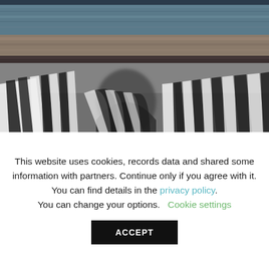[Figure (photo): Two-part photograph: top strip shows blue-gray denim fabric texture; bottom large section shows black-and-white blurred close-up of zebra stripes.]
This website uses cookies, records data and shared some information with partners. Continue only if you agree with it. You can find details in the privacy policy. You can change your options. Cookie settings
ACCEPT